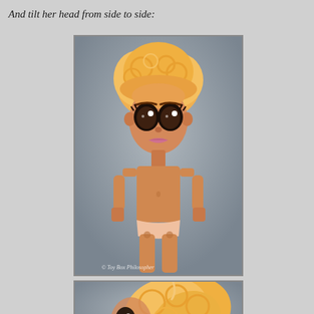And tilt her head from side to side:
[Figure (photo): Full-body photo of a Rainbow High fashion doll with orange curly updo hair, large expressive brown eyes, orange skin tone, wearing only underwear, shown against a gray background. Watermark reads '© Toy Box Philosopher'.]
[Figure (photo): Partial photo of the same doll tilted to the side, showing primarily the curly orange hair from a different angle, against a gray background.]